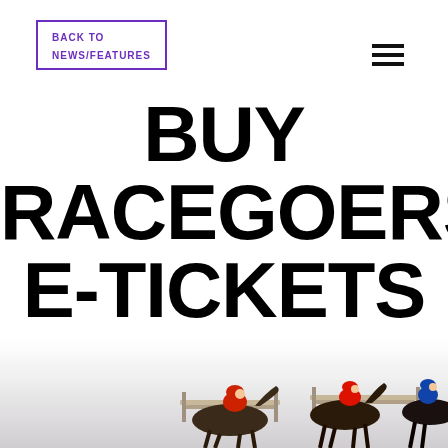BACK TO NEWS/FEATURES
BUY RACEGOERS E-TICKETS
[Figure (photo): Horse racing photo showing jockeys on horses jumping over hurdles at a race track, with colorful racing silks (red, blue, red/white). Image is partially visible at the bottom of the page.]